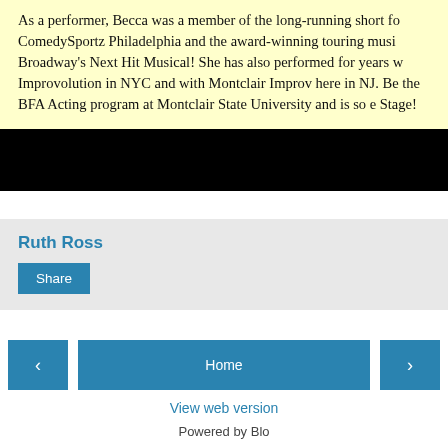As a performer, Becca was a member of the long-running short fo ComedySportz Philadelphia and the award-winning touring musi Broadway's Next Hit Musical! She has also performed for years v Improvolution in NYC and with Montclair Improv here in NJ. Be the BFA Acting program at Montclair State University and is so e Stage!
[Figure (other): Black horizontal bar/banner]
Ruth Ross
Share
Home
View web version
Powered by Blo...